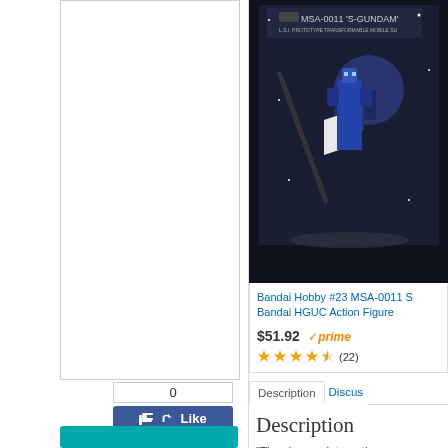[Figure (screenshot): Left white panel with border box, Facebook like/share widget showing 0 likes, Like and Share buttons in blue, and a teal button at bottom]
[Figure (photo): Bandai MSA-0011 S-Gundam model kit box art showing a blue and white mecha robot on dark background]
Bandai Hobby #23 MSA-0011 S Bandai HGUC Action Figure
$51.92 prime (22)
Description | Discus
Description
"The six-man internatio... night, and settled back...